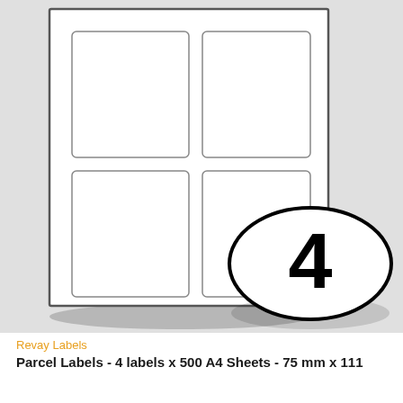[Figure (illustration): A label sheet product illustration showing an A4 sheet with 4 blank rectangular labels arranged in a 2x2 grid. A bold black oval badge with the number '4' overlaps the bottom-right corner of the sheet. The sheet casts a shadow underneath.]
Revay Labels
Parcel Labels - 4 labels x 500 A4 Sheets - 75 mm x 111